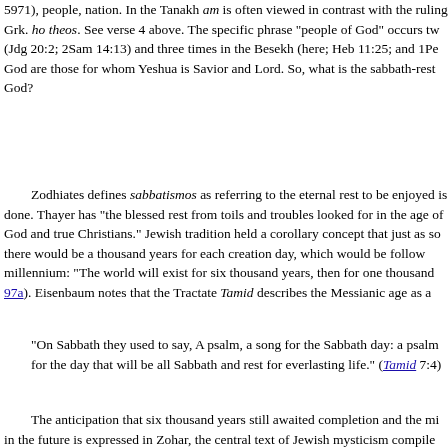5971), people, nation. In the Tanakh am is often viewed in contrast with the ruling Grk. ho theos. See verse 4 above. The specific phrase "people of God" occurs tw (Jdg 20:2; 2Sam 14:13) and three times in the Besekh (here; Heb 11:25; and 1Pe God are those for whom Yeshua is Savior and Lord. So, what is the sabbath-rest God?
Zodhiates defines sabbatismos as referring to the eternal rest to be enjoyed is done. Thayer has "the blessed rest from toils and troubles looked for in the age of God and true Christians." Jewish tradition held a corollary concept that just as so there would be a thousand years for each creation day, which would be follow millennium: "The world will exist for six thousand years, then for one thousand 97a). Eisenbaum notes that the Tractate Tamid describes the Messianic age as a :
"On Sabbath they used to say, A psalm, a song for the Sabbath day: a psalm for the day that will be all Sabbath and rest for everlasting life." (Tamid 7:4
The anticipation that six thousand years still awaited completion and the mi in the future is expressed in Zohar, the central text of Jewish mysticism compile states:
"Happy are those left alive at the end of the sixth millennium to enter into (t Shabbat" (Stern 842).
The Jewish viewpoint about the ages of the earth seems reflected in Peter's a fact escape your notice, beloved, that with the Lord one day is as a thousand yea day" (2Pet 3:8). Peter's words are set in the context of explaining the seeming de thus Peter's words could mean that just as there were six days of creation so ther each creation day, and then the Day of the Lord would usher in the seventh or Sa
In contrast to the futuristic interpretation the CJB translates sabbatismos as the declaration about observing the Sabbath. Stern says,
"Christians often assume that the New Testament does not require God's pec